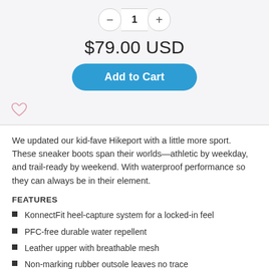[Figure (infographic): Quantity selector with minus button, number 1, and plus button, styled as a pill/rounded rectangle UI element]
$79.00 USD
[Figure (infographic): Blue rounded Add to Cart button]
[Figure (infographic): Heart/wishlist icon (pink outline)]
We updated our kid-fave Hikeport with a little more sport. These sneaker boots span their worlds—athletic by weekday, and trail-ready by weekend. With waterproof performance so they can always be in their element.
FEATURES
KonnectFit heel-capture system for a locked-in feel
PFC-free durable water repellent
Leather upper with breathable mesh
Non-marking rubber outsole leaves no trace
Direct-attach, air-injected ZORB PU midsole for long-lasting cushioning